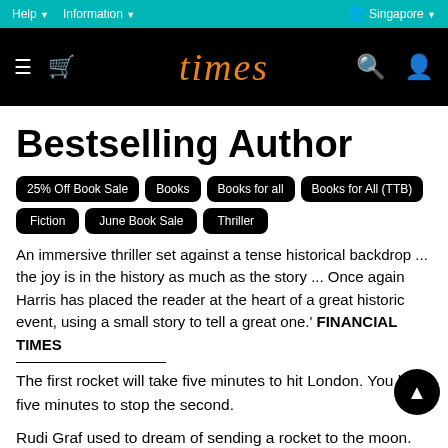Help ▼  Information ▼  🌐 Singapore ▼
[Figure (logo): Times bookstore logo in orange italic script on black header bar with hamburger menu, bag icon, search and user icons]
Bestselling Author
25% Off Book Sale
Books
Books for all
Books for All (TTB)
Fiction
June Book Sale
Thriller
An immersive thriller set against a tense historical backdrop ... the joy is in the history as much as the story ... Once again Harris has placed the reader at the heart of a great historic event, using a small story to tell a great one.' FINANCIAL TIMES
The first rocket will take five minutes to hit London. You have five minutes to stop the second.
Rudi Graf used to dream of sending a rocket to the moon. Instead, he has helped create the world's most sophisticated